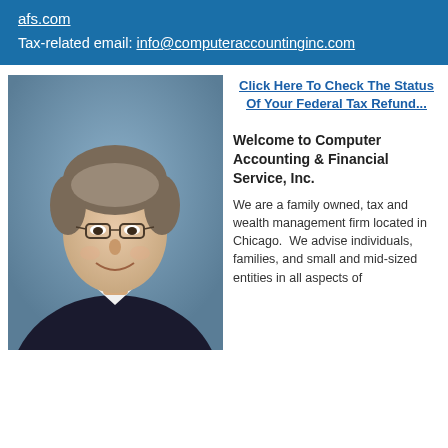afs.com
Tax-related email: info@computeraccountinginc.com
[Figure (photo): Portrait photo of a middle-aged man with glasses, wearing a dark suit jacket and white shirt, smiling, with a grey-blue background.]
Click Here To Check The Status Of Your Federal Tax Refund...
Welcome to Computer Accounting & Financial Service, Inc.
We are a family owned, tax and wealth management firm located in Chicago.  We advise individuals, families, and small and mid-sized entities in all aspects of